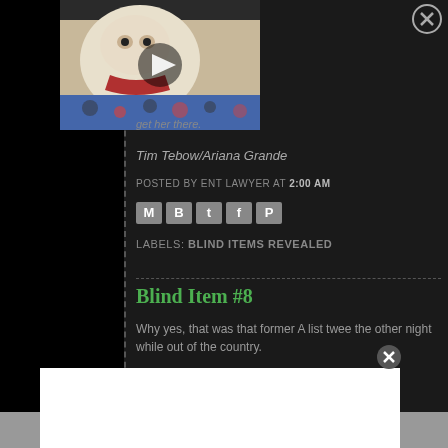[Figure (photo): A white fluffy puppy/dog lying on a colorful blanket with a red bandana, with a video play button overlay]
get her there.
Tim Tebow/Ariana Grande
POSTED BY ENT LAWYER AT 2:00 AM
[Figure (other): Social media share icons: email, Blogger, Twitter, Facebook, Pinterest]
LABELS: BLIND ITEMS REVEALED
Blind Item #8
Why yes, that was that former A list tweee the other night while out of the country.
POSTED BY ENT LAWYER AT 1:45 AM